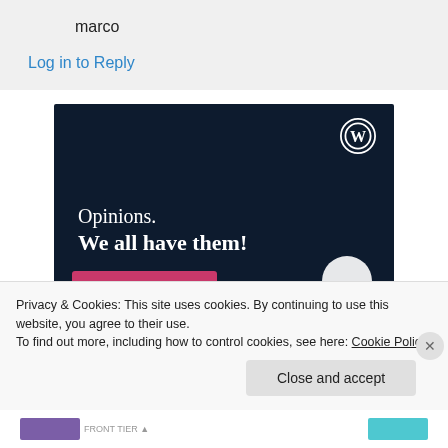marco
Log in to Reply
[Figure (illustration): WordPress advertisement banner with dark navy background showing 'Opinions. We all have them!' text with WordPress logo in top right corner, pink button at bottom left and white circle at bottom right.]
Privacy & Cookies: This site uses cookies. By continuing to use this website, you agree to their use.
To find out more, including how to control cookies, see here: Cookie Policy
Close and accept